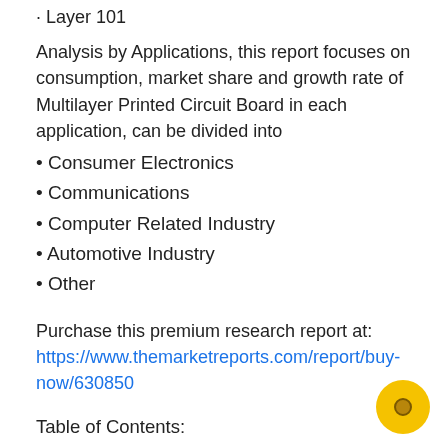· Layer 101
Analysis by Applications, this report focuses on consumption, market share and growth rate of Multilayer Printed Circuit Board in each application, can be divided into
• Consumer Electronics
• Communications
• Computer Related Industry
• Automotive Industry
• Other
Purchase this premium research report at: https://www.themarketreports.com/report/buy-now/630850
Table of Contents: